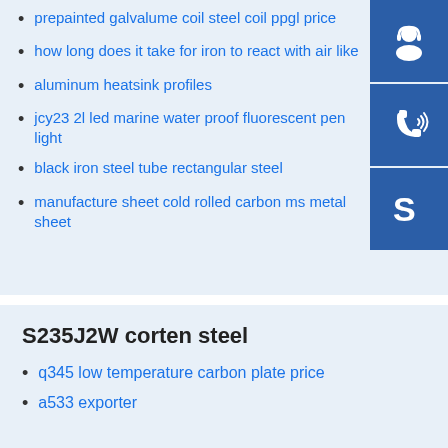prepainted galvalume coil steel coil ppgl price
how long does it take for iron to react with air like
aluminum heatsink profiles
jcy23 2l led marine water proof fluorescent pen light
black iron steel tube rectangular steel
manufacture sheet cold rolled carbon ms metal sheet
[Figure (illustration): Three blue icon buttons: customer service headset icon, phone/call icon, Skype icon]
S235J2W corten steel
q345 low temperature carbon plate price
a533 exporter